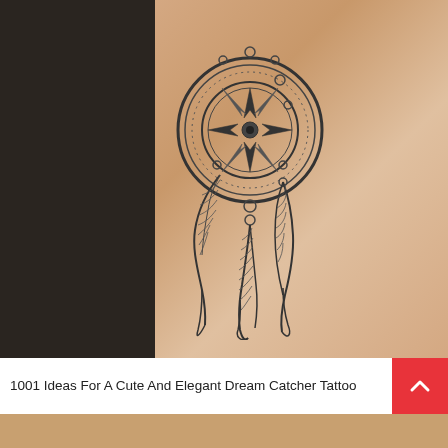[Figure (photo): Close-up photograph of a wrist with a tattoo of a compass rose dream catcher design with feathers hanging down, on skin against a dark background]
1001 Ideas For A Cute And Elegant Dream Catcher Tattoo
[Figure (photo): Partial view of another image at the bottom of the page, appears to show another tattoo]